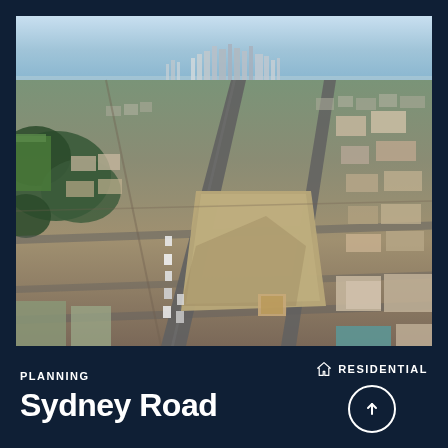[Figure (photo): Aerial drone photograph of Sydney Road, Melbourne, showing a large vacant land parcel surrounded by suburban residential and commercial streets, with the Melbourne CBD skyline visible in the distance on the horizon.]
PLANNING
Sydney Road
RESIDENTIAL